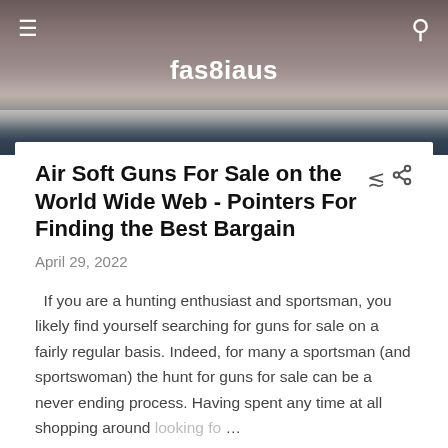fas8iaus
Air Soft Guns For Sale on the World Wide Web - Pointers For Finding the Best Bargain
April 29, 2022
If you are a hunting enthusiast and sportsman, you likely find yourself searching for guns for sale on a fairly regular basis. Indeed, for many a sportsman (and sportswoman) the hunt for guns for sale can be a never ending process. Having spent any time at all shopping around looking for …